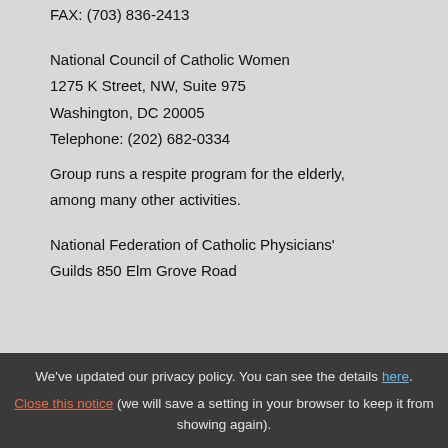FAX: (703) 836-2413
National Council of Catholic Women
1275 K Street, NW, Suite 975
Washington, DC 20005
Telephone: (202) 682-0334
Group runs a respite program for the elderly, among many other activities.
National Federation of Catholic Physicians' Guilds 850 Elm Grove Road
We've updated our privacy policy. You can see the details here. Close this notice (we will save a setting in your browser to keep it from showing again).